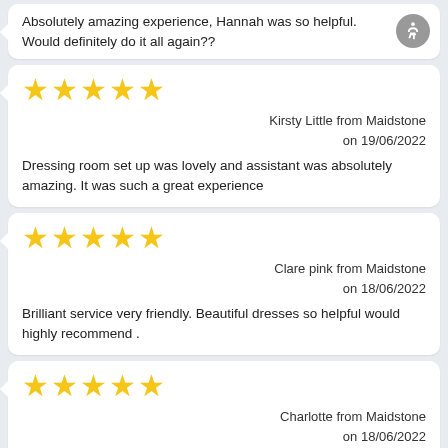Absolutely amazing experience, Hannah was so helpful. Would definitely do it all again??
[Figure (other): Accessibility icon (person in circle) in top right corner]
★★★★★
Kirsty Little from Maidstone on 19/06/2022
Dressing room set up was lovely and assistant was absolutely amazing. It was such a great experience
★★★★★
Clare pink from Maidstone on 18/06/2022
Brilliant service very friendly. Beautiful dresses so helpful would highly recommend .
★★★★★
Charlotte from Maidstone on 18/06/2022
From buying to alterations, Alta Costura has been fantastic. They helped